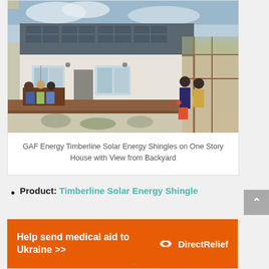[Figure (photo): A single-story house with solar shingles on the roof, family sitting at outdoor table, and a person carrying a watering can from a greenhouse structure on the right. Backyard view with gravel landscaping and wooden deck.]
GAF Energy Timberline Solar Energy Shingles on One Story House with View from Backyard
Product: Timberline Solar Energy Shingle
[Figure (infographic): Orange advertisement banner reading 'Help send medical aid to Ukraine >>' with Direct Relief logo on the right.]